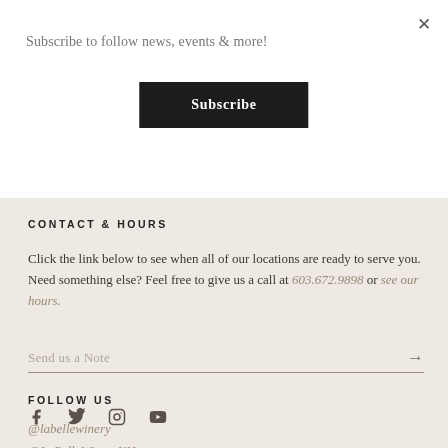Subscribe to follow news, events & more!
Subscribe
CONTACT & HOURS
Click the link below to see when all of our locations are ready to serve you. Need something else? Feel free to give us a call at 603.672.9898 or see our hours.
Send us a Note
FOLLOW US
@labellewinery
@LaBelleWineryNH
[Figure (other): Social media icons: Facebook, Twitter, Instagram, YouTube]